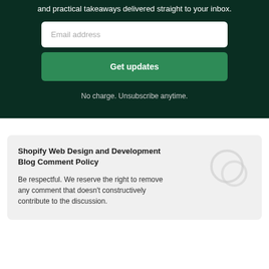and practical takeaways delivered straight to your inbox.
Email address
Get updates
No charge. Unsubscribe anytime.
Shopify Web Design and Development Blog Comment Policy
Be respectful. We reserve the right to remove any comment that doesn't constructively contribute to the discussion.